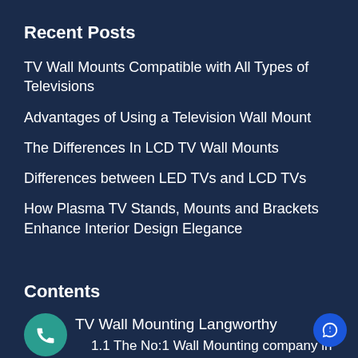Recent Posts
TV Wall Mounts Compatible with All Types of Televisions
Advantages of Using a Television Wall Mount
The Differences In LCD TV Wall Mounts
Differences between LED TVs and LCD TVs
How Plasma TV Stands, Mounts and Brackets Enhance Interior Design Elegance
Contents
TV Wall Mounting Langworthy
1.1 The No:1 Wall Mounting company in